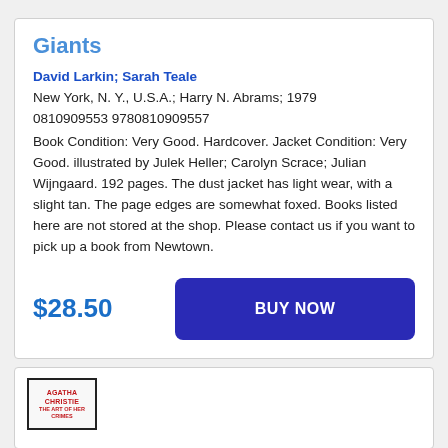Giants
David Larkin; Sarah Teale
New York, N. Y., U.S.A.; Harry N. Abrams; 1979
0810909553 9780810909557
Book Condition: Very Good. Hardcover. Jacket Condition: Very Good. illustrated by Julek Heller; Carolyn Scrace; Julian Wijngaard. 192 pages. The dust jacket has light wear, with a slight tan. The page edges are somewhat foxed. Books listed here are not stored at the shop. Please contact us if you want to pick up a book from Newtown.
$28.50
BUY NOW
[Figure (other): Book thumbnail showing Agatha Christie: The Art of Her Crimes]